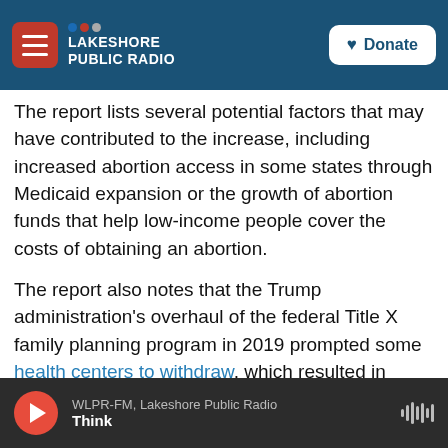NPR Lakeshore Public Radio — navigation bar with Donate button
The report lists several potential factors that may have contributed to the increase, including increased abortion access in some states through Medicaid expansion or the growth of abortion funds that help low-income people cover the costs of obtaining an abortion.
The report also notes that the Trump administration's overhaul of the federal Title X family planning program in 2019 prompted some health centers to withdraw, which resulted in fewer patients receiving contraception through the program.
WLPR-FM, Lakeshore Public Radio — Think